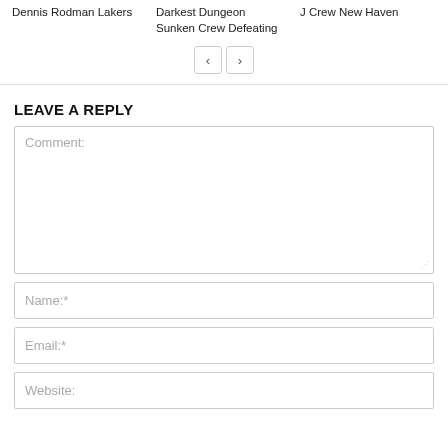Dennis Rodman Lakers	Darkest Dungeon Sunken Crew Defeating	J Crew New Haven
< >
LEAVE A REPLY
Comment:
Name:*
Email:*
Website: